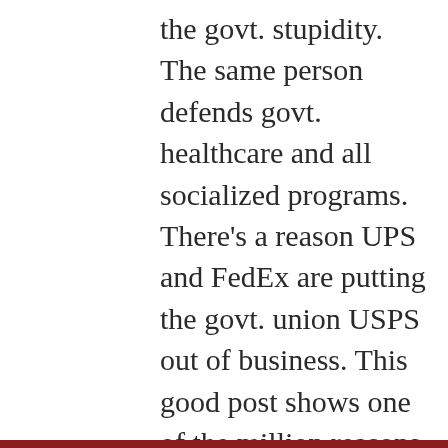the govt. stupidity. The same person defends govt. healthcare and all socialized programs. There’s a reason UPS and FedEx are putting the govt. union USPS out of business. This good post shows one of the million reasons why. Defend and deflect are 2 tactics used by socialists. KCF, @ 10:34a, deals w/ Medicare and gives an